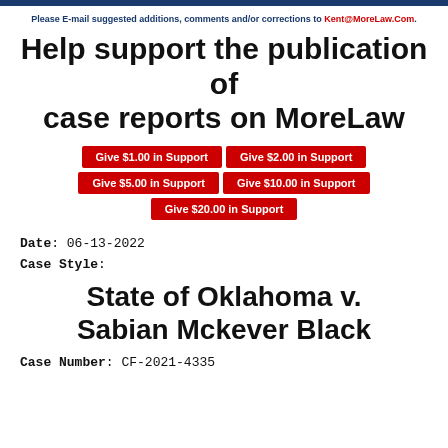Please E-mail suggested additions, comments and/or corrections to Kent@MoreLaw.Com.
Help support the publication of case reports on MoreLaw
[Figure (infographic): Five red donation buttons: Give $1.00 in Support, Give $2.00 in Support, Give $5.00 in Support, Give $10.00 in Support, Give $20.00 in Support]
Date: 06-13-2022
Case Style:
State of Oklahoma v. Sabian Mckever Black
Case Number: CF-2021-4335